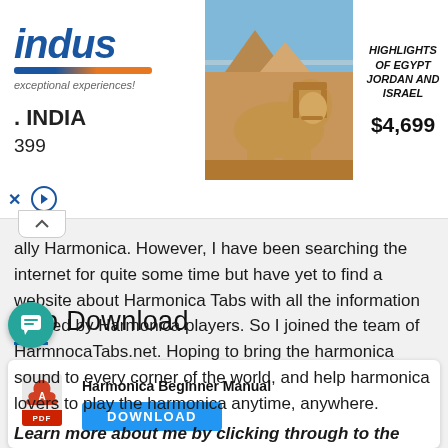[Figure (other): Advertisement banner for Indus travel company featuring Egypt, Jordan and Israel tour. Shows Indus logo with 'exceptional experiences!' tagline, '. INDIA' text, '399' price fragment, photo of Egyptian Sphinx and pyramids, and text 'HIGHLIGHTS OF EGYPT JORDAN AND ISRAEL $4,699']
ally Harmonica. However, I have been searching the internet for quite some time but have yet to find a website about Harmonica Tabs with all the information needed by Harmonica players. So I joined the team of HarmnocaTabs.net. Hoping to bring the harmonica sound to every corner of the world, and help harmonica lovers to play the harmonica anytime, anywhere.
Learn more about me by clicking through to the About The Author page.
Top Download
[Figure (other): Download card for 'Harmonica Beginner Manual' PDF with a red PDF icon and a blue DOWNLOAD button]